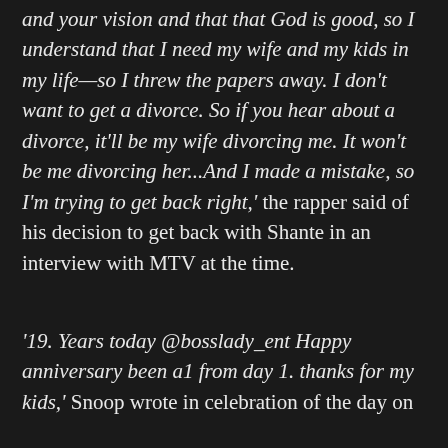and your vision and that that God is good, so I understand that I need my wife and my kids in my life—so I threw the papers away. I don't want to get a divorce. So if you hear about a divorce, it'll be my wife divorcing me. It won't be me divorcing her...And I made a mistake, so I'm trying to get back right,' the rapper said of his decision to get back with Shante in an interview with MTV at the time.
'19. Years today @bosslady_ent Happy anniversary been a1 from day 1. thanks for my kids,' Snoop wrote in celebration of the day on